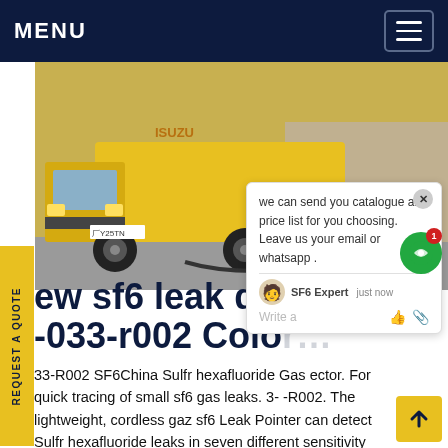MENU
[Figure (photo): Yellow Isuzu truck parked outdoors, with hoses connected, on a paved surface near green grass. Text 'china' visible in orange on the right side of image.]
we can send you catalogue and price list for you choosing. Leave us your email or whatsapp .
SF6 Expert   just now
Write a
ew sf6 leak dete… le -033-r002 Color…
33-R002 SF6China Sulfr hexafluoride Gas ector. For quick tracing of small sf6 gas leaks. 3- -R002. The lightweight, cordless gaz sf6 Leak Pointer can detect Sulfr hexafluoride leaks in seven different sensitivity levels with a response rate of one second. The gaz sf6 Leak Pointer is easy to operate with one hand. Leakage data is clearly